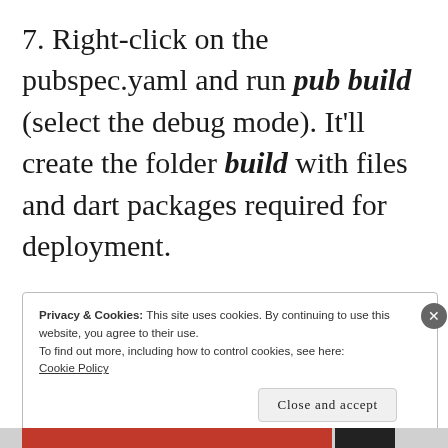7. Right-click on the pubspec.yaml and run pub build (select the debug mode). It'll create the folder build with files and dart packages required for deployment.
Privacy & Cookies: This site uses cookies. By continuing to use this website, you agree to their use.
To find out more, including how to control cookies, see here:
Cookie Policy
Close and accept